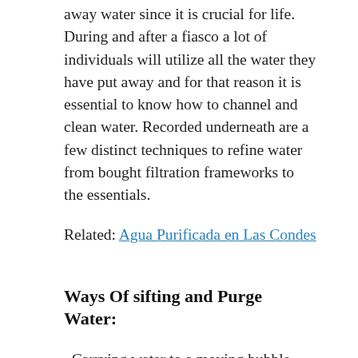away water since it is crucial for life. During and after a fiasco a lot of individuals will utilize all the water they have put away and for that reason it is essential to know how to channel and clean water. Recorded underneath are a few distinct techniques to refine water from bought filtration frameworks to the essentials.
Related: Agua Purificada en Las Condes
Ways Of sifting and Purge Water:
· Carrying water to a moving bubble will kill every single unsafe life form. This technique functions admirably; but you should have a way to bubble water and time; it is delayed to heat